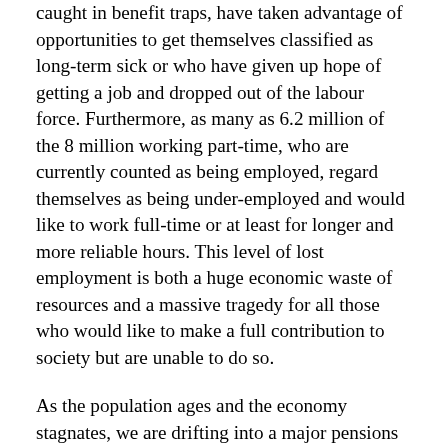caught in benefit traps, have taken advantage of opportunities to get themselves classified as long-term sick or who have given up hope of getting a job and dropped out of the labour force. Furthermore, as many as 6.2 million of the 8 million working part-time, who are currently counted as being employed, regard themselves as being under-employed and would like to work full-time or at least for longer and more reliable hours. This level of lost employment is both a huge economic waste of resources and a massive tragedy for all those who would like to make a full contribution to society but are unable to do so.
As the population ages and the economy stagnates, we are drifting into a major pensions crisis. Because people are living longer while the average retirement age is growing only slowly, the total number of people entitled to a pension is rising all the time in relation to those who are still working. Two-thirds of state benefits go to